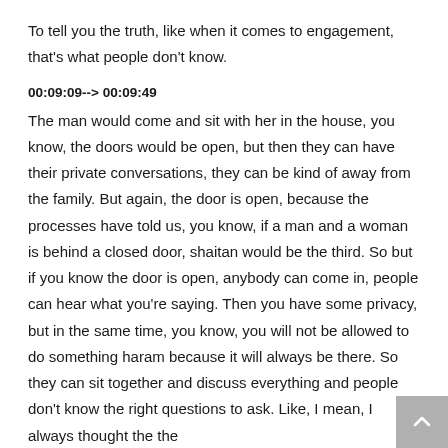To tell you the truth, like when it comes to engagement, that's what people don't know.
00:09:09--> 00:09:49
The man would come and sit with her in the house, you know, the doors would be open, but then they can have their private conversations, they can be kind of away from the family. But again, the door is open, because the processes have told us, you know, if a man and a woman is behind a closed door, shaitan would be the third. So but if you know the door is open, anybody can come in, people can hear what you're saying. Then you have some privacy, but in the same time, you know, you will not be allowed to do something haram because it will always be there. So they can sit together and discuss everything and people don't know the right questions to ask. Like, I mean, I always thought the the